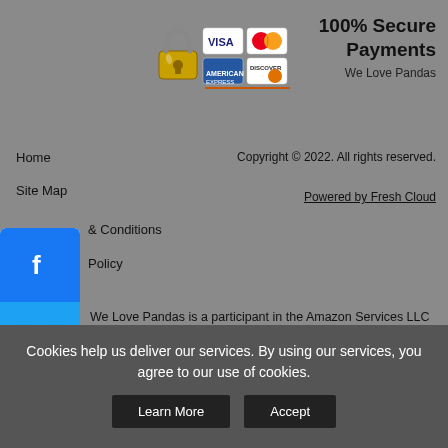[Figure (logo): Payment security icons: lock icon, VISA, Mastercard, American Express, Discover logos]
100% Secure Payments
We Love Pandas
Home
Copyright © 2022. All rights reserved.
Site Map
Powered by Fresh Cloud
& Conditions
Policy
[Figure (infographic): Social media share buttons sidebar: Facebook, Twitter, Pinterest, Tumblr, Share (+)]
We Love Pandas is a participant in the Amazon Services LLC Associates Program, an affiliate advertising program designed to provide a means for sites to earn advertising fees by advertising and linking to Amazon.com, Endless.com, MYHABIT.com, SmallParts.com, or AmazonWireless.com. Amazon, the Amazon logo, AmazonSupply, and the AmazonSupply logo are trademarks of Amazon.com, Inc. or its
Cookies help us deliver our services. By using our services, you agree to our use of cookies.
Learn More
Accept